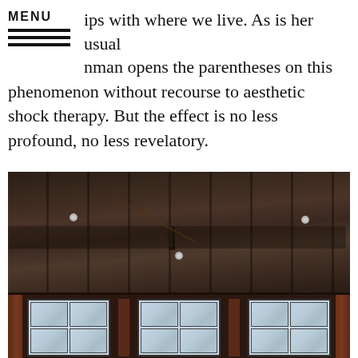MENU
ips with where we live. As is her usual nman opens the parentheses on this phenomenon without recourse to aesthetic shock therapy. But the effect is no less profound, no less revelatory.
[Figure (photo): Interior photograph looking up at a dark wooden ceiling with exposed beams and industrial elements, with large multi-pane factory-style windows visible at the bottom showing brick surrounds and light sky through the panes.]